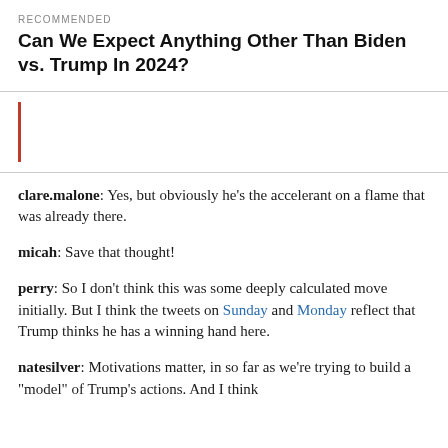RECOMMENDED
Can We Expect Anything Other Than Biden vs. Trump In 2024?
clare.malone: Yes, but obviously he’s the accelerant on a flame that was already there.
micah: Save that thought!
perry: So I don’t think this was some deeply calculated move initially. But I think the tweets on Sunday and Monday reflect that Trump thinks he has a winning hand here.
natesilver: Motivations matter, in so far as we’re trying to build a “model” of Trump’s actions. And I think